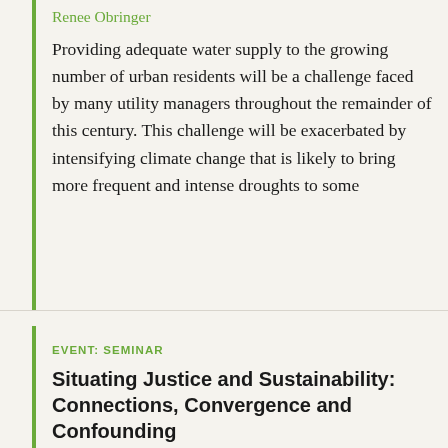Renee Obringer
Providing adequate water supply to the growing number of urban residents will be a challenge faced by many utility managers throughout the remainder of this century. This challenge will be exacerbated by intensifying climate change that is likely to bring more frequent and intense droughts to some
EVENT: SEMINAR
Situating Justice and Sustainability: Connections, Convergence and Confounding
Thursday, April 08, 2021
11:00 a.m. ET
Julia Sze